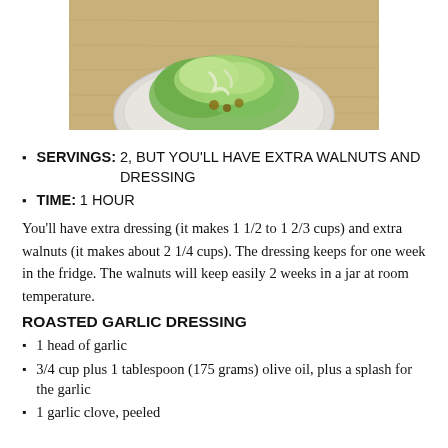[Figure (photo): A white plate with romaine lettuce salad topped with dressing and walnuts, on a wooden surface]
SERVINGS: 2, BUT YOU'LL HAVE EXTRA WALNUTS AND DRESSING
TIME: 1 HOUR
You'll have extra dressing (it makes 1 1/2 to 1 2/3 cups) and extra walnuts (it makes about 2 1/4 cups). The dressing keeps for one week in the fridge. The walnuts will keep easily 2 weeks in a jar at room temperature.
ROASTED GARLIC DRESSING
1 head of garlic
3/4 cup plus 1 tablespoon (175 grams) olive oil, plus a splash for the garlic
1 garlic clove, peeled